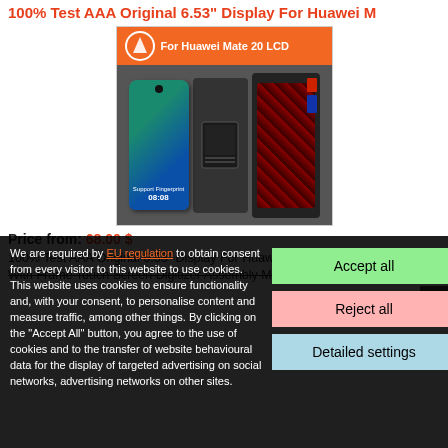100% Test AAA Original 6.53" Display For Huawei M
[Figure (photo): Product listing image showing Huawei Mate 20 LCD screen assembly with orange banner header reading 'For Huawei Mate 20 LCD', a phone with screen, disassembled display panels, and internal components]
Price from: 68.00 $
100% Test AAA Original 6.53" Display For Huawei Mate 20 LC...
With Frame Touch Screen Digitizer Assembly Mate20 Replace...
We are required by EU regulation to obtain consent from every visitor to this website to use cookies. This website uses cookies to ensure functionality and, with your consent, to personalise content and measure traffic, among other things. By clicking on the "Accept All" button, you agree to the use of cookies and to the transfer of website behavioural data for the display of targeted advertising on social networks, advertising networks on other sites.
Accept all
Reject all
Detailed settings